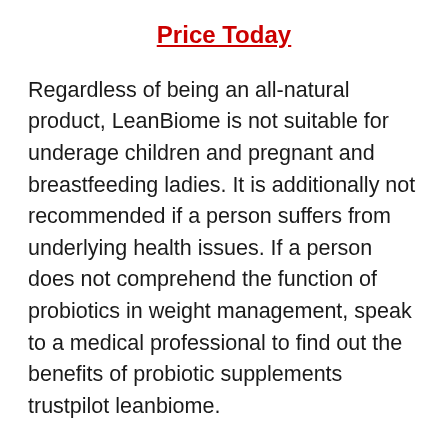Price Today
Regardless of being an all-natural product, LeanBiome is not suitable for underage children and pregnant and breastfeeding ladies. It is additionally not recommended if a person suffers from underlying health issues. If a person does not comprehend the function of probiotics in weight management, speak to a medical professional to find out the benefits of probiotic supplements trustpilot leanbiome.
Keep in mind: The LeanBiome weight loss supplement is specifically offered online as well as can be bought with the main site at a reduced price using this link.